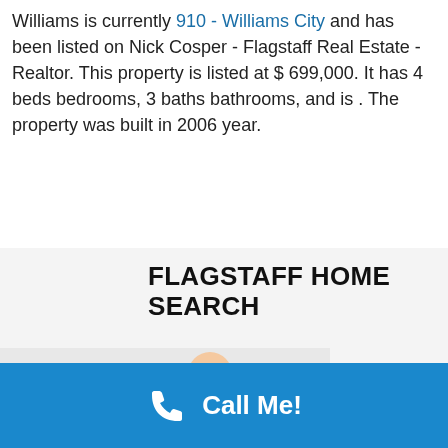Williams is currently 910 - Williams City and has been listed on Nick Cosper - Flagstaff Real Estate - Realtor. This property is listed at $ 699,000. It has 4 beds bedrooms, 3 baths bathrooms, and is . The property was built in 2006 year.
FLAGSTAFF HOME SEARCH
[Figure (photo): Photo of a man with two children, man wearing a plaid shirt, children on his shoulders and beside him, shown partially overlapping the search form]
s, City, ZIP
min | max
min | max
Call Me!